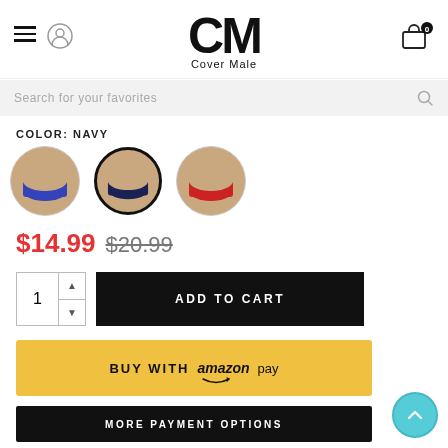[Figure (logo): Cover Male logo with stylized CM letters and 'Cover Male' text below]
Search for your favorites
COLOR: NAVY
[Figure (photo): Three circular product color swatches showing underwear in blue, navy (selected), and red]
$14.99 $20.99
ADD TO CART
BUY WITH amazon pay
MORE PAYMENT OPTIONS